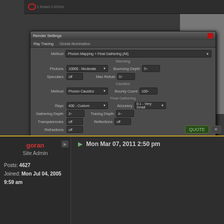[Figure (screenshot): Forum post showing a Blender/3D render settings dialog (Render Settings window) with fields for Ray Tracing, Global Illumination, Method, Photons, Speculars, Caustics, Final Gathering sections. Echo 32 text visible, OK and Cancel buttons. Status bar shows '1 thread 3.62Ghz'. A red oval highlights certain text in the status bar.]
goran
Site Admin
Posts: 4627
Joined: Mon Jul 04, 2005 9:59 am
Mon Mar 07, 2011 2:50 pm